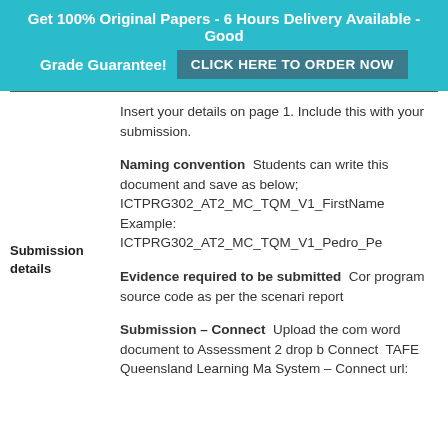Get 100% Original Papers - 6 Hours Delivery Available - Good Grade Guarantee! CLICK HERE TO ORDER NOW
Insert your details on page 1. Include this with your submission.
Naming convention  Students can write this document and save as below; ICTPRG302_AT2_MC_TQM_V1_FirstName Example: ICTPRG302_AT2_MC_TQM_V1_Pedro_Pe
Submission details
Evidence required to be submitted  Cor program source code as per the scenari report
Submission – Connect  Upload the com word document to Assessment 2 drop b Connect  TAFE Queensland Learning Ma System – Connect url: